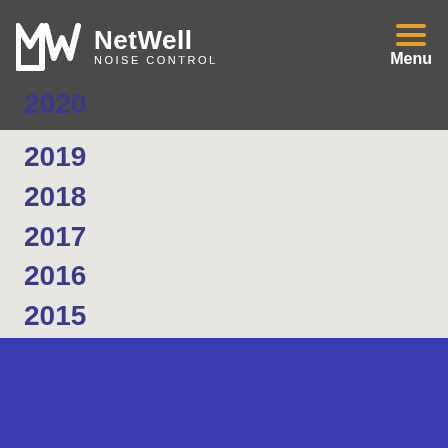NetWell NOISE CONTROL — Menu
2020
2019
2018
2017
2016
2015
2014
2013
2011